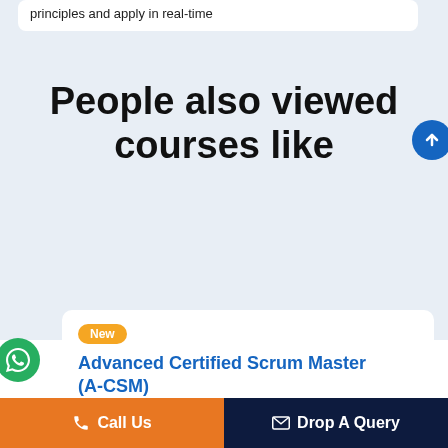principles and apply in real-time
People also viewed courses like
New
Advanced Certified Scrum Master (A-CSM)
2 Days Classroom Training
Activity based learning
Call Us  Drop A Query